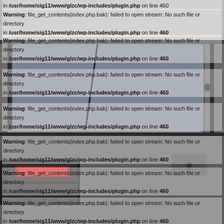[Figure (photo): Close-up photograph of the rear of a dark gray/silver classic muscle car, showing the rear window, tail lights with a red reflector panel, a fuel cap, and textured bodywork. The car appears to be a vintage American muscle car.]
Warning: file_get_contents(index.php.bak): failed to open stream: No such file or directory in /usr/home/sig11/www/glzc/wp-includes/plugin.php on line 460
Warning: file_get_contents(index.php.bak): failed to open stream: No such file or directory in /usr/home/sig11/www/glzc/wp-includes/plugin.php on line 460
Warning: file_get_contents(index.php.bak): failed to open stream: No such file or directory in /usr/home/sig11/www/glzc/wp-includes/plugin.php on line 460
Warning: file_get_contents(index.php.bak): failed to open stream: No such file or directory in /usr/home/sig11/www/glzc/wp-includes/plugin.php on line 460
Warning: file_get_contents(index.php.bak): failed to open stream: No such file or directory in /usr/home/sig11/www/glzc/wp-includes/plugin.php on line 460
Warning: file_get_contents(index.php.bak): failed to open stream: No such file or directory in /usr/home/sig11/www/glzc/wp-includes/plugin.php on line 460
Warning: file_get_contents(index.php.bak): failed to open stream: No such file or directory in /usr/home/sig11/www/glzc/wp-includes/plugin.php on line 460
Warning: file_get_contents(index.php.bak): failed to open stream: No such file or directory in /usr/home/sig11/www/glzc/wp-includes/plugin.php on line 460